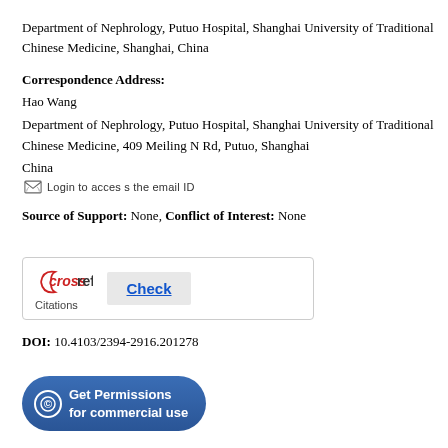Department of Nephrology, Putuo Hospital, Shanghai University of Traditional Chinese Medicine, Shanghai, China
Correspondence Address:
Hao Wang
Department of Nephrology, Putuo Hospital, Shanghai University of Traditional Chinese Medicine, 409 Meiling N Rd, Putuo, Shanghai
China
Login to access the email ID
Source of Support: None, Conflict of Interest: None
[Figure (logo): CrossRef Citations logo with a Check button]
DOI: 10.4103/2394-2916.201278
Get Permissions for commercial use